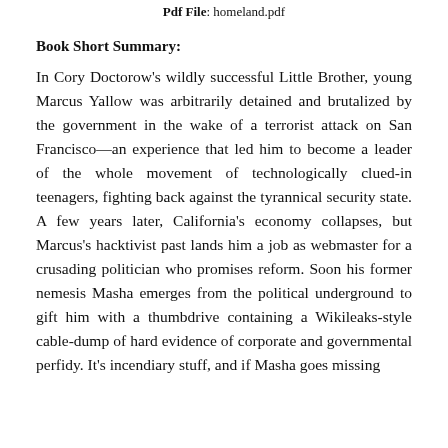Pdf File: homeland.pdf
Book Short Summary:
In Cory Doctorow's wildly successful Little Brother, young Marcus Yallow was arbitrarily detained and brutalized by the government in the wake of a terrorist attack on San Francisco—an experience that led him to become a leader of the whole movement of technologically clued-in teenagers, fighting back against the tyrannical security state. A few years later, California's economy collapses, but Marcus's hacktivist past lands him a job as webmaster for a crusading politician who promises reform. Soon his former nemesis Masha emerges from the political underground to gift him with a thumbdrive containing a Wikileaks-style cable-dump of hard evidence of corporate and governmental perfidy. It's incendiary stuff, and if Masha goes missing...